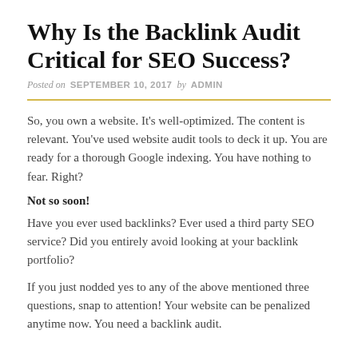Why Is the Backlink Audit Critical for SEO Success?
Posted on SEPTEMBER 10, 2017 by ADMIN
So, you own a website. It's well-optimized. The content is relevant. You've used website audit tools to deck it up. You are ready for a thorough Google indexing. You have nothing to fear. Right?
Not so soon!
Have you ever used backlinks? Ever used a third party SEO service? Did you entirely avoid looking at your backlink portfolio?
If you just nodded yes to any of the above mentioned three questions, snap to attention! Your website can be penalized anytime now. You need a backlink audit.